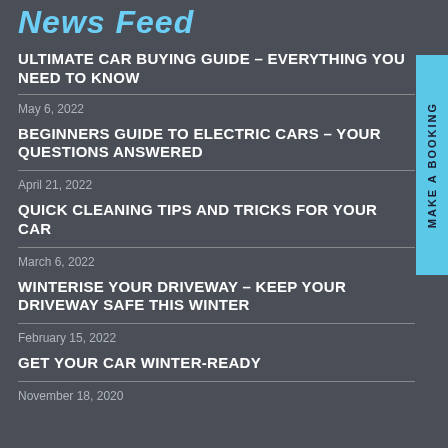News Feed
ULTIMATE CAR BUYING GUIDE – EVERYTHING YOU NEED TO KNOW
May 6, 2022
BEGINNERS GUIDE TO ELECTRIC CARS – YOUR QUESTIONS ANSWERED
April 21, 2022
QUICK CLEANING TIPS AND TRICKS FOR YOUR CAR
March 6, 2022
WINTERISE YOUR DRIVEWAY – KEEP YOUR DRIVEWAY SAFE THIS WINTER
February 15, 2022
GET YOUR CAR WINTER-READY
November 18, 2020